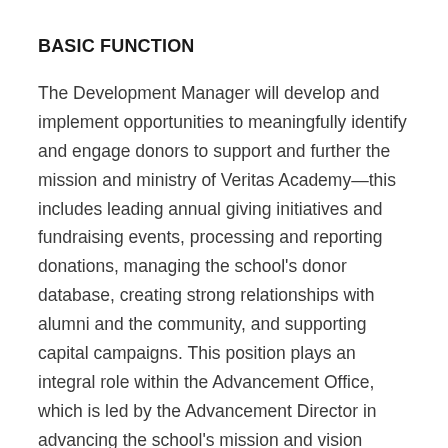BASIC FUNCTION
The Development Manager will develop and implement opportunities to meaningfully identify and engage donors to support and further the mission and ministry of Veritas Academy—this includes leading annual giving initiatives and fundraising events, processing and reporting donations, managing the school's donor database, creating strong relationships with alumni and the community, and supporting capital campaigns. This position plays an integral role within the Advancement Office, which is led by the Advancement Director in advancing the school's mission and vision through a coordinated and